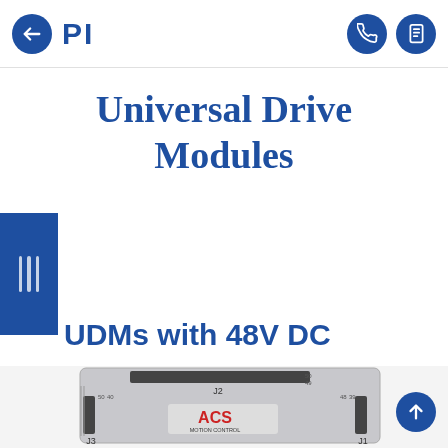PI — Universal Drive Modules
Universal Drive Modules
UDMs with 48V DC
[Figure (photo): Photo of a UDM (Universal Drive Module) hardware unit — a gray metal enclosure with ACS Motion Control branding and multiple connectors labeled J1, J2, J3 with numbered pin connectors.]